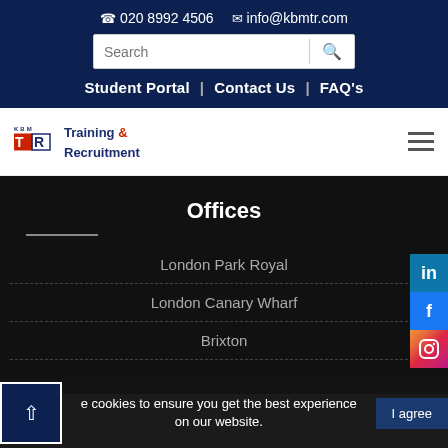020 8992 4506  info@kbmtr.com
Student Portal | Contact Us | FAQ's
[Figure (logo): KBM Training & Recruitment logo with red TR icon]
Offices
London Park Royal
London Canary Wharf
Brixton
We use cookies to ensure you get the best experience on our website.